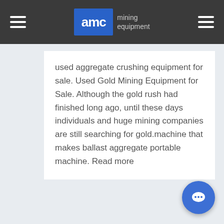AMC mining equipment
used aggregate crushing equipment for sale. Used Gold Mining Equipment for Sale. Although the gold rush had finished long ago, until these days individuals and huge mining companies are still searching for gold.machine that makes ballast aggregate portable machine. Read more
CONSULT